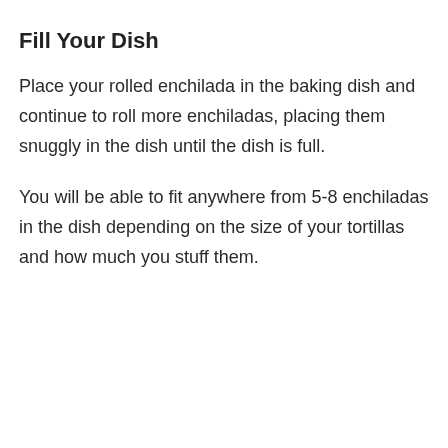Fill Your Dish
Place your rolled enchilada in the baking dish and continue to roll more enchiladas, placing them snuggly in the dish until the dish is full.
You will be able to fit anywhere from 5-8 enchiladas in the dish depending on the size of your tortillas and how much you stuff them.